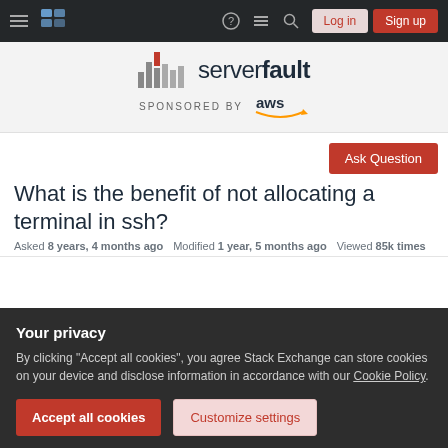ServerFault navigation bar with Log in and Sign up buttons
[Figure (logo): ServerFault logo with equalizer bars icon and AWS sponsorship logo]
SPONSORED BY aws
Ask Question
What is the benefit of not allocating a terminal in ssh?
Asked 8 years, 4 months ago   Modified 1 year, 5 months ago   Viewed 85k times
Your privacy
By clicking "Accept all cookies", you agree Stack Exchange can store cookies on your device and disclose information in accordance with our Cookie Policy.
Accept all cookies   Customize settings
and I am reminded that ssh doesn't allocate a